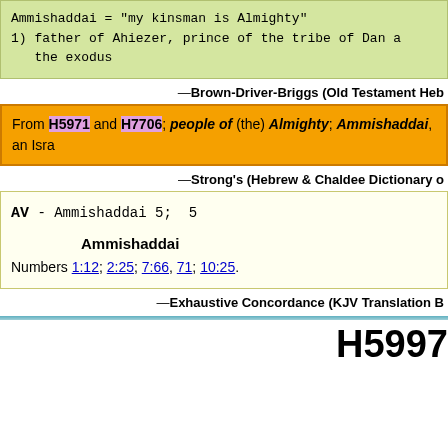Ammishaddai = "my kinsman is Almighty"
1) father of Ahiezer, prince of the tribe of Dan a the exodus
—Brown-Driver-Briggs (Old Testament Hebr...
From H5971 and H7706; people of (the) Almighty; Ammishaddai, an Isra...
—Strong's (Hebrew & Chaldee Dictionary o...
AV - Ammishaddai 5; 5

Ammishaddai
Numbers 1:12; 2:25; 7:66, 71; 10:25.
—Exhaustive Concordance (KJV Translation B...
H5997